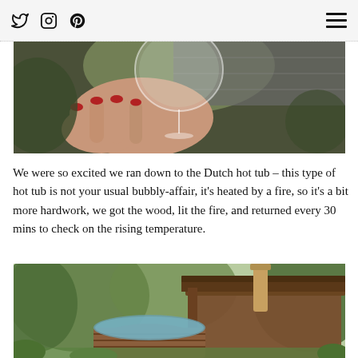Social icons: Twitter, Instagram, Pinterest; Hamburger menu
[Figure (photo): A hand with red-painted nails holding a wine glass up, with green foliage and a slate roof in the background.]
We were so excited we ran down to the Dutch hot tub – this type of hot tub is not your usual bubbly-affair, it's heated by a fire, so it's a bit more hardwork, we got the wood, lit the fire, and returned every 30 mins to check on the rising temperature.
[Figure (photo): An outdoor wooden hot tub with a chimney pipe, surrounded by lush green trees and a wooden shelter structure.]